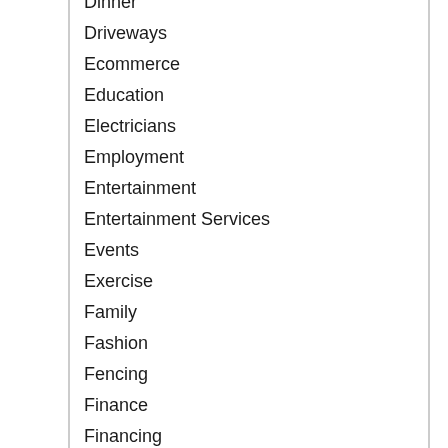Dinner
Driveways
Ecommerce
Education
Electricians
Employment
Entertainment
Entertainment Services
Events
Exercise
Family
Fashion
Fencing
Finance
Financing
Fishing